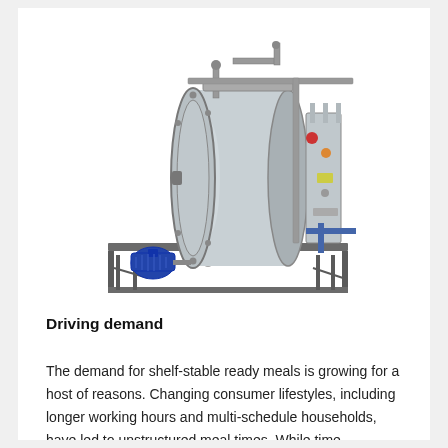[Figure (photo): Industrial autoclave / retort sterilization machine — a large cylindrical pressure vessel mounted on a metal frame with piping, valves, gauges, and a blue electric motor at the base. The machine is stainless steel with various control components on the right side.]
Driving demand
The demand for shelf-stable ready meals is growing for a host of reasons. Changing consumer lifestyles, including longer working hours and multi-schedule households, have led to unstructured meal times. While time-constrained consumers look for convenient, quick-to-prepare meal solutions,